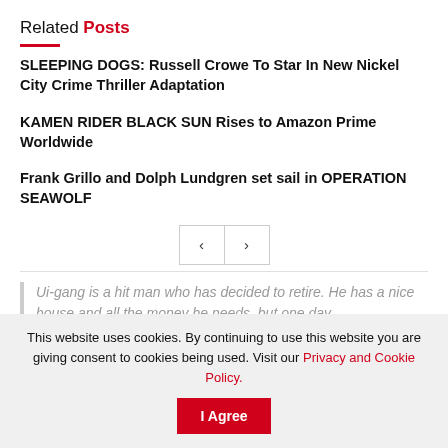Related Posts
SLEEPING DOGS: Russell Crowe To Star In New Nickel City Crime Thriller Adaptation
KAMEN RIDER BLACK SUN Rises to Amazon Prime Worldwide
Frank Grillo and Dolph Lundgren set sail in OPERATION SEAWOLF
Ui-gang is a hit man who has decided to retire. He has a nice house and all the money he needs, but one day
This website uses cookies. By continuing to use this website you are giving consent to cookies being used. Visit our Privacy and Cookie Policy.